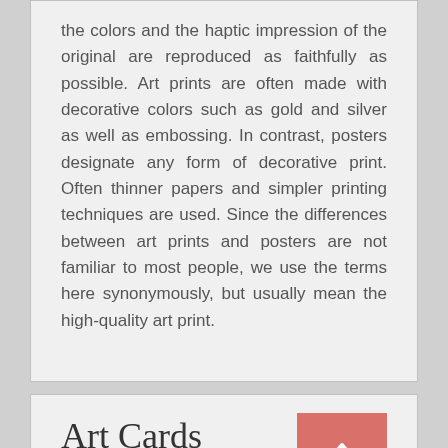the colors and the haptic impression of the original are reproduced as faithfully as possible. Art prints are often made with decorative colors such as gold and silver as well as embossing. In contrast, posters designate any form of decorative print. Often thinner papers and simpler printing techniques are used. Since the differences between art prints and posters are not familiar to most people, we use the terms here synonymously, but usually mean the high-quality art print.
Art Cards
Art cards by Hans-Werner Sahm are